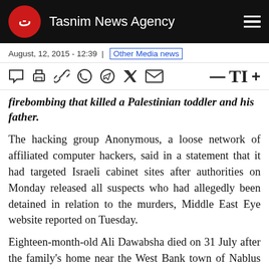Tasnim News Agency
August, 12, 2015 - 12:39 | Other Media news
firebombing that killed a Palestinian toddler and his father.
The hacking group Anonymous, a loose network of affiliated computer hackers, said in a statement that it had targeted Israeli cabinet sites after authorities on Monday released all suspects who had allegedly been detained in relation to the murders, Middle East Eye website reported on Tuesday.
Eighteen-month-old Ali Dawabsha died on 31 July after the family's home near the West Bank town of Nablus was set alight by attackers believed to be Israeli settlers.
His father, Saad Dawabsha, died on Saturday of his injuries, while his wife, Reham, and older son, Ahmad, remain in